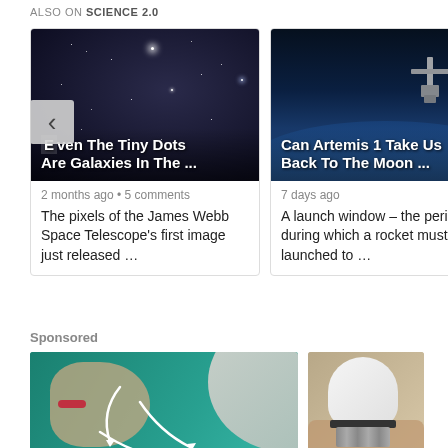ALSO ON SCIENCE 2.0
[Figure (screenshot): Article card with galaxy/space image from James Webb Space Telescope with overlay title 'Even The Tiny Dots Are Galaxies In The ...' and text 'The pixels of the James Webb Space Telescope's first image just released ...' posted 2 months ago with 5 comments]
[Figure (screenshot): Article card with Artemis spacecraft image with overlay title 'Can Artemis 1 Take Us Back To The Moon ...' and text 'A launch window – the period during which a rocket must be launched to ...' posted 7 days ago]
Sponsored
[Figure (photo): Sponsored image of older woman with white/silver hair in profile view with white arrows drawn on face indicating facial exercise or treatment directions, on teal/green background]
[Figure (photo): Sponsored image of a hand holding a white lightbulb with black band, partially visible on right side]